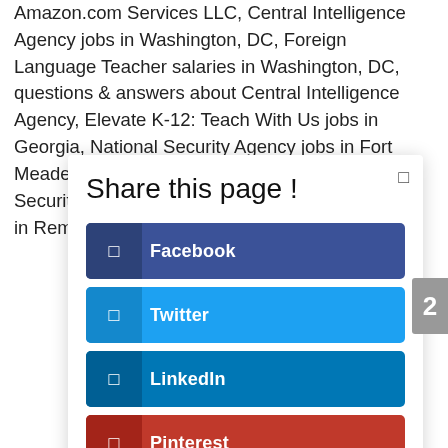Amazon.com Services LLC, Central Intelligence Agency jobs in Washington, DC, Foreign Language Teacher salaries in Washington, DC, questions & answers about Central Intelligence Agency, Elevate K-12: Teach With Us jobs in Georgia, National Security Agency jobs in Fort Meade, MD, questions & answers about National Security Agency, Administrative Assistant salaries in Remote, OR, questions & answers about
Share this page !
Facebook
Twitter
LinkedIn
Pinterest